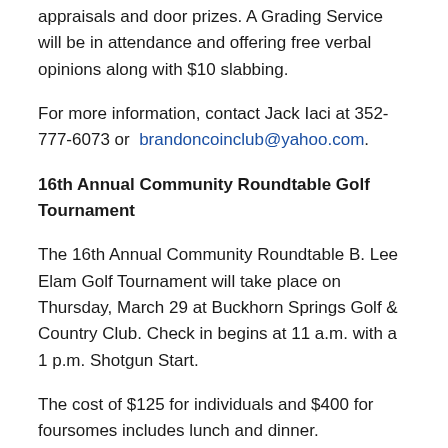appraisals and door prizes. A Grading Service will be in attendance and offering free verbal opinions along with $10 slabbing.
For more information, contact Jack Iaci at 352-777-6073 or brandoncoinclub@yahoo.com.
16th Annual Community Roundtable Golf Tournament
The 16th Annual Community Roundtable B. Lee Elam Golf Tournament will take place on Thursday, March 29 at Buckhorn Springs Golf & Country Club. Check in begins at 11 a.m. with a 1 p.m. Shotgun Start.
The cost of $125 for individuals and $400 for foursomes includes lunch and dinner.
You can pay online (submission deadline is March 16). Visit